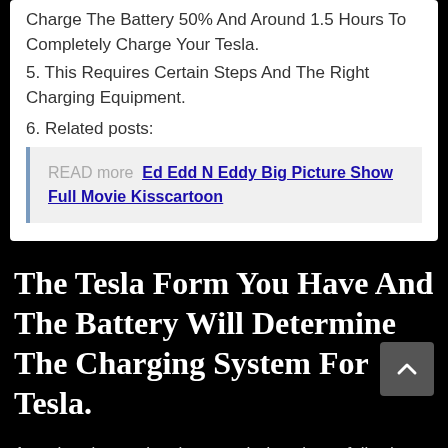Charge The Battery 50% And Around 1.5 Hours To Completely Charge Your Tesla.
5. This Requires Certain Steps And The Right Charging Equipment.
6. Related posts:
READ more  Ed Edd N Eddy Big Picture Show Full Movie Kisscartoon
The Tesla Form You Have And The Battery Will Determine The Charging System For Tesla.
At a charging station, how much does it cos fully charge a tesla? With that said, the